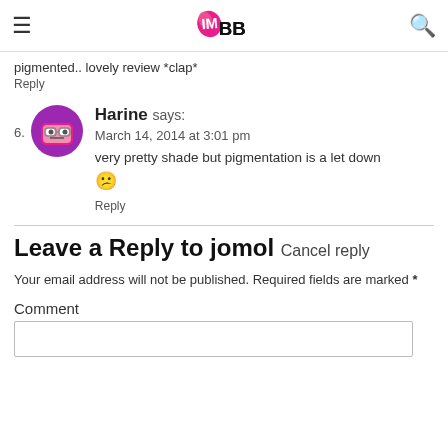IMBB (logo)
pigmented.. lovely review *clap*
Reply
6. Harine says:
March 14, 2014 at 3:01 pm
very pretty shade but pigmentation is a let down 😕
Reply
Leave a Reply to jomol Cancel reply
Your email address will not be published. Required fields are marked *
Comment